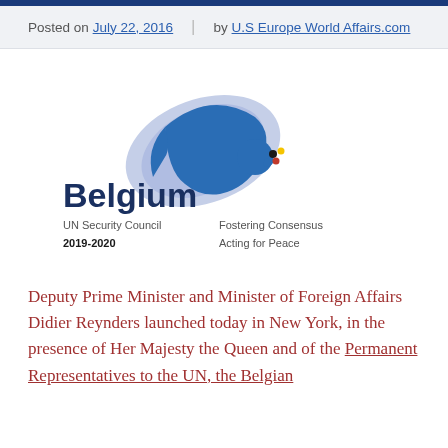Posted on July 22, 2016 | by U.S Europe World Affairs.com
[Figure (logo): Belgium UN Security Council 2019-2020 Fostering Consensus Acting for Peace logo with dove]
Deputy Prime Minister and Minister of Foreign Affairs Didier Reynders launched today in New York, in the presence of Her Majesty the Queen and of the Permanent Representatives to the UN, the Belgian